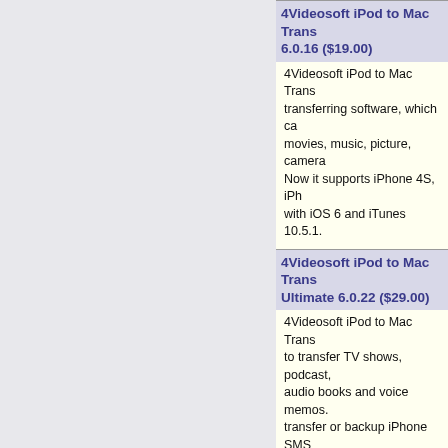4Videosoft iPod to Mac Transfer 6.0.16 ($19.00)
4Videosoft iPod to Mac Transfer is a professional transferring software, which can help you transfer movies, music, picture, camera roll from iPod to Mac. Now it supports iPhone 4S, iPhone 5 which are compatible with iOS 6 and iTunes 10.5.1.
4Videosoft iPod to Mac Transfer Ultimate 6.0.22 ($29.00)
4Videosoft iPod to Mac Transfer Ultimate allows you to transfer TV shows, podcast, iTunes U, ebook, camera roll, audio books and voice memos. Besides, you can also transfer or backup iPhone SMS to Mac.
4Videosoft Mac DVD to iPhone Converter 5.0.28 ($29.95)
4Videosoft DVD to iPhone Converter for Mac is a professional DVD to iPhone Converter for Mac software. It can help you convert DVD to iPhone MP4 format quickly and easily with Mac. The speed of conversion and quality goes far beyond your imagination.
4Videosoft Mac iPad Manager Platinum 6.0.28 ($45.00)
4Videosoft iPad Manager for Mac can help you easily in transferring TV shows, podcast, iTunes U, ebook, camera, audio books, SMS, and contacts from iPad to Mac.